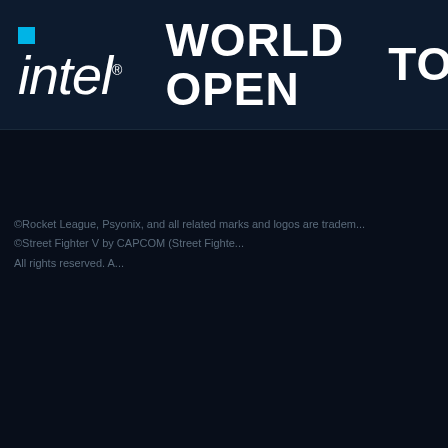[Figure (logo): Intel World Open Tokyo banner logo on dark navy background. Intel logo with blue square and italic text, vertical white divider, WORLD OPEN in bold white text, another vertical white divider, TOKYO in bold white text (partially cropped).]
©Rocket League, Psyonix, and all related marks and logos are tradem... ©Street Fighter V by CAPCOM (Street Fighte... All rights reserved. A...